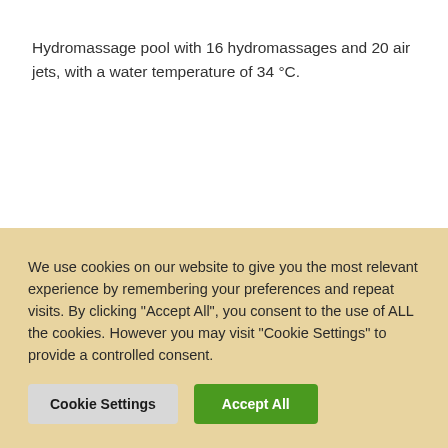Hydromassage pool with 16 hydromassages and 20 air jets, with a water temperature of 34 °C.
We use cookies on our website to give you the most relevant experience by remembering your preferences and repeat visits. By clicking "Accept All", you consent to the use of ALL the cookies. However you may visit "Cookie Settings" to provide a controlled consent.
Cookie Settings | Accept All